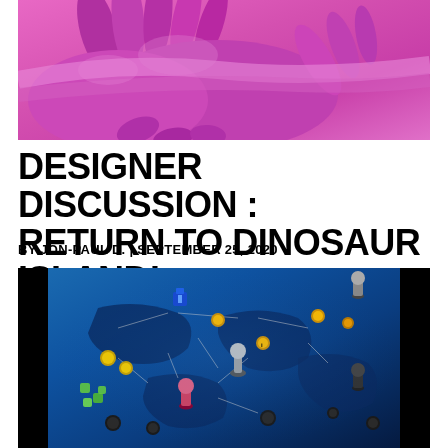[Figure (photo): Pink dinosaur sculpture/figurine with spines and claws visible, photographed from below against a white background]
DESIGNER DISCUSSION : RETURN TO DINOSAUR ISLAND!
BY JON-PAUL D. | SEPTEMBER 25, 2020
[Figure (photo): Aerial view of a blue board game (Return to Dinosaur Island) with tokens, pawns, and game pieces arranged on a map-like board with routes and locations]